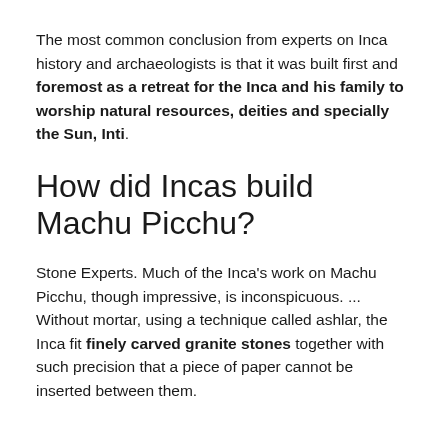The most common conclusion from experts on Inca history and archaeologists is that it was built first and foremost as a retreat for the Inca and his family to worship natural resources, deities and specially the Sun, Inti.
How did Incas build Machu Picchu?
Stone Experts. Much of the Inca's work on Machu Picchu, though impressive, is inconspicuous. ... Without mortar, using a technique called ashlar, the Inca fit finely carved granite stones together with such precision that a piece of paper cannot be inserted between them.